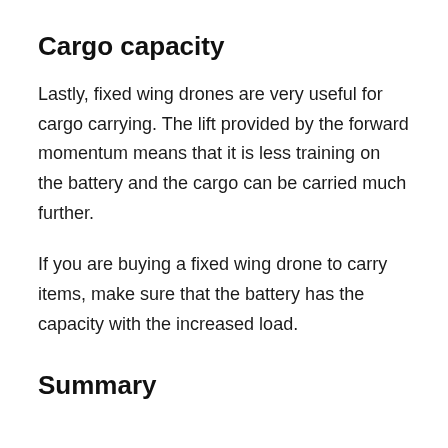Cargo capacity
Lastly, fixed wing drones are very useful for cargo carrying. The lift provided by the forward momentum means that it is less training on the battery and the cargo can be carried much further.
If you are buying a fixed wing drone to carry items, make sure that the battery has the capacity with the increased load.
Summary